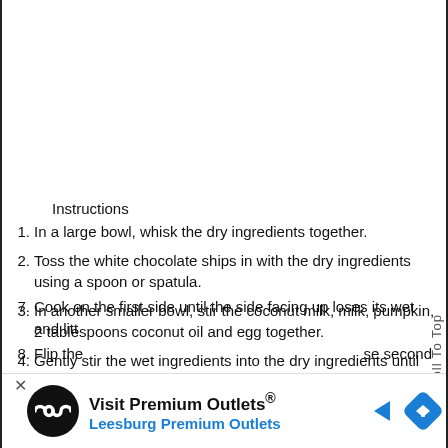Instructions
1. In a large bowl, whisk the dry ingredients together.
2. Toss the white chocolate ships in with the dry ingredients using a spoon or spatula.
3. In another smaller bowl, stir the coconut milk, milk, pumpkin, 2 tablespoons coconut oil and egg together.
4. Gently stir the wet ingredients into the dry ingredients until just combined. The batter should be wet but lumpy.
5. Heat a skillet over medium heat. Add some coconut oil and swirl it in the pan.
6. Pour in ¼ cup batter per pancake.
7. Cook on the first side until the side facing up loses its wet appearance and the edges...
8. Flip the...se second